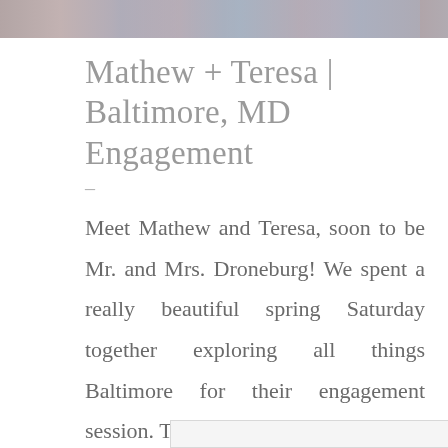[Figure (photo): Horizontal strip of engagement photos at the top of the page]
Mathew + Teresa | Baltimore, MD Engagement –
Meet Mathew and Teresa, soon to be Mr. and Mrs. Droneburg! We spent a really beautiful spring Saturday together exploring all things Baltimore for their engagement session. These major Orioles/Ravens
[Figure (photo): Partial photo visible at the bottom of the page]